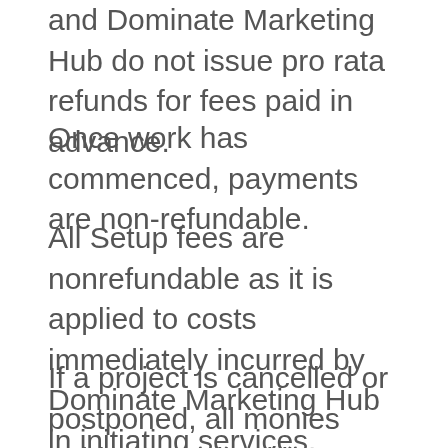and Dominate Marketing Hub do not issue pro rata refunds for fees paid in advance.
Once work has commenced, payments are non-refundable.
All Setup fees are nonrefundable as it is applied to costs immediately incurred by Dominate Marketing Hub in initiating services.
If a project is cancelled or postponed, all monies paid are retained by Dominate Marketing Hub and if applicable, a fee for all work completed beyond what was already